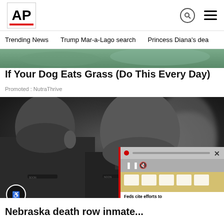AP
Trending News  Trump Mar-a-Lago search  Princess Diana's dea
[Figure (photo): Partial top image of an outdoor scene, green tones]
If Your Dog Eats Grass (Do This Every Day)
Promoted : NutraThrive
[Figure (photo): Photo of two men in dark clothing, one looking down, one looking forward. A blurred third figure is visible in the background. A video overlay appears in the lower right corner showing documents with caption 'Feds cite efforts to obstruct probe of docs at Trump est...']
Nebraska death row inmate...